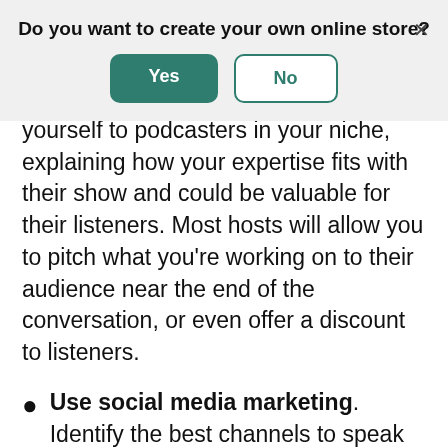Do you want to create your own online store?
[Figure (screenshot): Modal dialog with Yes (green filled button) and No (green outlined button) options, and an X close button in the top right corner]
yourself to podcasters in your niche, explaining how your expertise fits with their show and could be valuable for their listeners. Most hosts will allow you to pitch what you’re working on to their audience near the end of the conversation, or even offer a discount to listeners.
Use social media marketing. Identify the best channels to speak to your prospective followers, hone in on them, and build a social media strategy that prioritizes adding value consistently. Avoid the trap of using